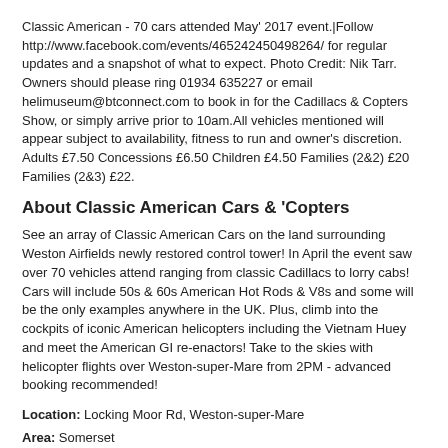Classic American - 70 cars attended May' 2017 event.|Follow http://www.facebook.com/events/465242450498264/ for regular updates and a snapshot of what to expect. Photo Credit: Nik Tarr. Owners should please ring 01934 635227 or email helimuseum@btconnect.com to book in for the Cadillacs & Copters Show, or simply arrive prior to 10am.All vehicles mentioned will appear subject to availability, fitness to run and owner's discretion. Adults £7.50 Concessions £6.50 Children £4.50 Families (2&2) £20 Families (2&3) £22.
About Classic American Cars & 'Copters
See an array of Classic American Cars on the land surrounding Weston Airfields newly restored control tower! In April the event saw over 70 vehicles attend ranging from classic Cadillacs to lorry cabs! Cars will include 50s & 60s American Hot Rods & V8s and some will be the only examples anywhere in the UK. Plus, climb into the cockpits of iconic American helicopters including the Vietnam Huey and meet the American GI re-enactors! Take to the skies with helicopter flights over Weston-super-Mare from 2PM - advanced booking recommended!
Location: Locking Moor Rd, Weston-super-Mare
Area: Somerset
Region: South West
Postcode:BS24 8PP
Organiser Information